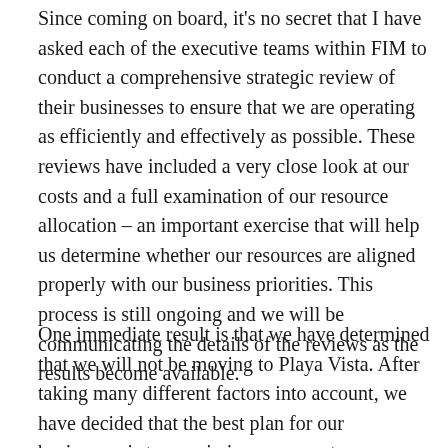Since coming on board, it's no secret that I have asked each of the executive teams within FIM to conduct a comprehensive strategic review of their businesses to ensure that we are operating as efficiently and effectively as possible. These reviews have included a very close look at our costs and a full examination of our resource allocation – an important exercise that will help us determine whether our resources are aligned properly with our business priorities. This process is still ongoing and we will be communicating the details of the reviews as the results become available.
One immediate result is that we have determined that we will not be moving to Playa Vista. After taking many different factors into account, we have decided that the best plan for our businesses is to remain in our current